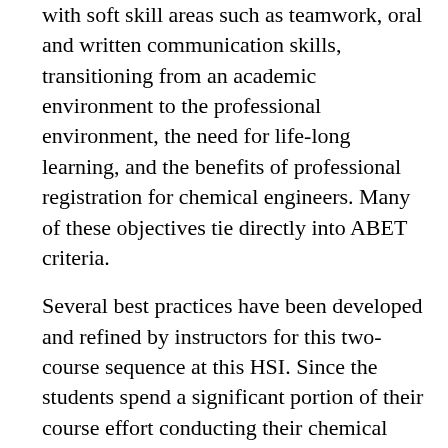with soft skill areas such as teamwork, oral and written communication skills, transitioning from an academic environment to the professional environment, the need for life-long learning, and the benefits of professional registration for chemical engineers. Many of these objectives tie directly into ABET criteria.
Several best practices have been developed and refined by instructors for this two-course sequence at this HSI. Since the students spend a significant portion of their course effort conducting their chemical process design capstone project in groups of four to five members, a more individualized mentoring approach is used by the instructors to guide the students through the challenges they face in the project. This is achieved by weekly instructor meetings with each project group. This allows